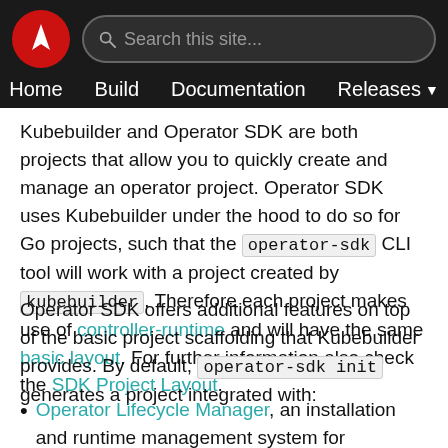Navigation bar with logo, search, Home, Build, Documentation, Releases
Kubebuilder and Operator SDK are both projects that allow you to quickly create and manage an operator project. Operator SDK uses Kubebuilder under the hood to do so for Go projects, such that the operator-sdk CLI tool will work with a project created by kubebuilder. Therefore each project makes use of controller-runtime and will have the same basic layout. For further information also check the SDK Project Layout.
Operator SDK offers additional features on top of the basic project scaffolding that Kubebuilder provides. By default, operator-sdk init generates a project integrated with:
Operator Lifecycle Manager, an installation and runtime management system for operators